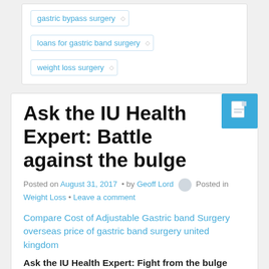gastric bypass surgery
loans for gastric band surgery
weight loss surgery
Ask the IU Health Expert: Battle against the bulge
Posted on August 31, 2017 • by Geoff Lord Posted in Weight Loss • Leave a comment
Compare Cost of Adjustable Gastric band Surgery overseas price of gastric band surgery united kingdom
Ask the IU Health Expert: Fight from the bulge
Each insurance provider sets specific criteria required to approve someone for wls. Generally, for those who have a bmi (Body mass index) of 40 …
See all tales about this subject